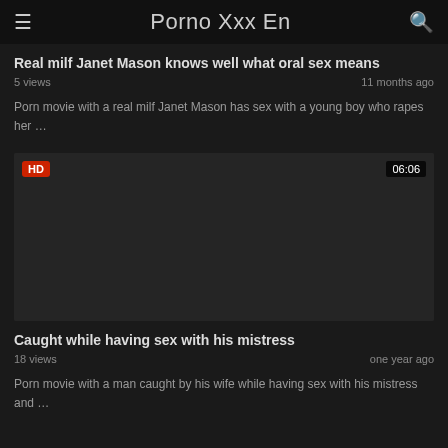Porno Xxx En
Real milf Janet Mason knows well what oral sex means
5 views · 11 months ago
Porn movie with a real milf Janet Mason has sex with a young boy who rapes her …
[Figure (screenshot): Dark video thumbnail with HD badge and 06:06 duration badge]
Caught while having sex with his mistress
18 views · one year ago
Porn movie with a man caught by his wife while having sex with his mistress and …